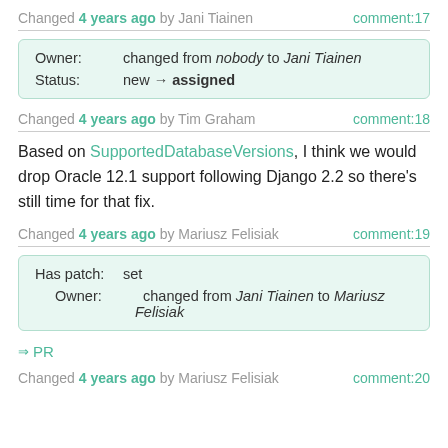Changed 4 years ago by Jani Tiainen   comment:17
| Owner: | changed from nobody to Jani Tiainen |
| Status: | new → assigned |
Changed 4 years ago by Tim Graham   comment:18
Based on SupportedDatabaseVersions, I think we would drop Oracle 12.1 support following Django 2.2 so there's still time for that fix.
Changed 4 years ago by Mariusz Felisiak   comment:19
| Has patch: | set |
| Owner: | changed from Jani Tiainen to Mariusz Felisiak |
⇒ PR
Changed 4 years ago by Mariusz Felisiak   comment:20